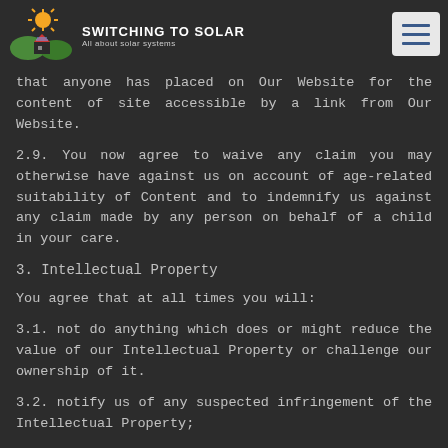Switching To Solar – All about solar systems
acknowledge that we are not responsible for Content that anyone has placed on Our Website for the content of site accessible by a link from Our Website.
2.9. You now agree to waive any claim you may otherwise have against us on account of age-related suitability of Content and to indemnify us against any claim made by any person on behalf of a child in your care.
3. Intellectual Property
You agree that at all times you will:
3.1. not do anything which does or might reduce the value of our Intellectual Property or challenge our ownership of it.
3.2. notify us of any suspected infringement of the Intellectual Property;